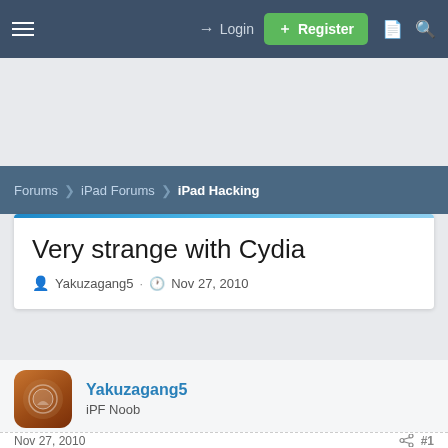Login | Register
Forums › iPad Forums › iPad Hacking
Very strange with Cydia
Yakuzagang5 · Nov 27, 2010
Yakuzagang5
iPF Noob
Nov 27, 2010 #1
Forums | What's New | Log In | Register | Search